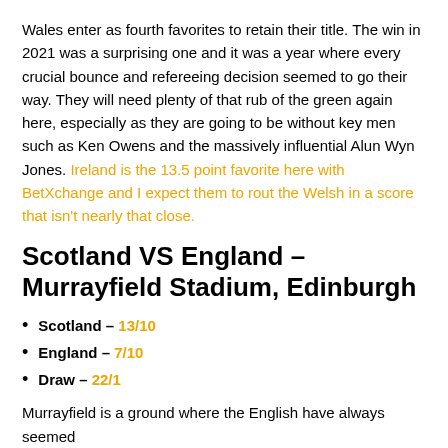Wales enter as fourth favorites to retain their title. The win in 2021 was a surprising one and it was a year where every crucial bounce and refereeing decision seemed to go their way. They will need plenty of that rub of the green again here, especially as they are going to be without key men such as Ken Owens and the massively influential Alun Wyn Jones. Ireland is the 13.5 point favorite here with BetXchange and I expect them to rout the Welsh in a score that isn't nearly that close.
Scotland VS England – Murrayfield Stadium, Edinburgh
Scotland – 13/10
England – 7/10
Draw – 22/1
Murrayfield is a ground where the English have always seemed